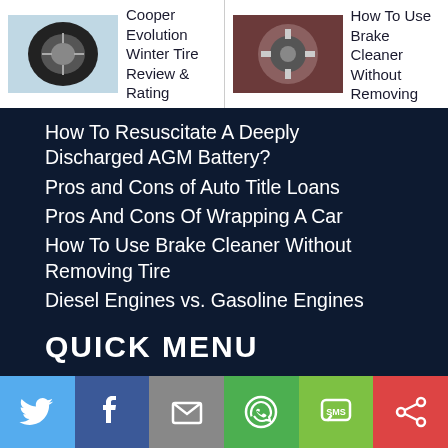[Figure (screenshot): Thumbnail image of a tire (Cooper Evolution Winter Tire Review)]
Cooper Evolution Winter Tire Review & Rating
[Figure (photo): Thumbnail image of a brake/wheel (How To Use Brake Cleaner Without Removing Tire)]
How To Use Brake Cleaner Without Removing Tire
How To Resuscitate A Deeply Discharged AGM Battery?
Pros and Cons of Auto Title Loans
Pros And Cons Of Wrapping A Car
How To Use Brake Cleaner Without Removing Tire
Diesel Engines vs. Gasoline Engines
Best Battery for Jeep Wrangler
Best Head Gasket Sealer for Diesel Engines
Best Battery Jump Starter Packs For Diesel
QUICK MENU